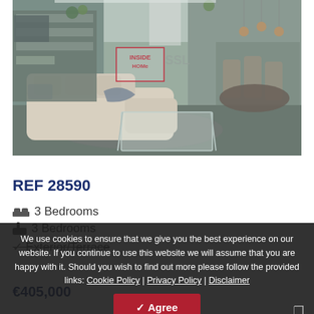[Figure (photo): Interior photo of a modern living room with beige/cream sectional sofa, glass coffee table, shelving unit, dining area in background, and contemporary lighting. Watermark reads 'INSIDE HOMe SSL' in red.]
REF 28590
3 Bedrooms
3 Bedrooms
Exterior/Terrace
€405,000
We use cookies to ensure that we give you the best experience on our website. If you continue to use this website we will assume that you are happy with it. Should you wish to find out more please follow the provided links: Cookie Policy | Privacy Policy | Disclaimer